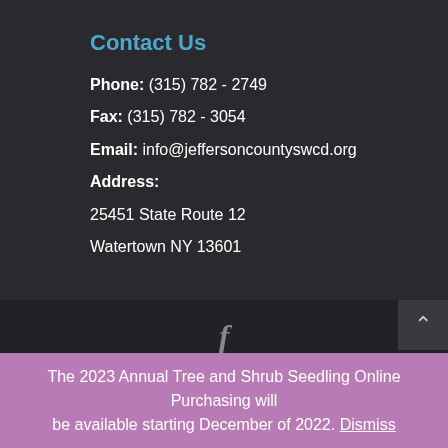Contact Us
Phone: (315) 782 - 2749
Fax: (315) 782 - 3054
Email: info@jeffersoncountyswcd.org
Address:
25451 State Route 12
Watertown NY 13601
[Figure (logo): Facebook icon 'f' in gray]
© 2019 Jefferson County Soil and Water Conservation. Website and SEO by Webit365 Inc.
The 2023 Annual Tree and Shrub Seedling Online Purchasing will be available starting December of 2022. Dismiss